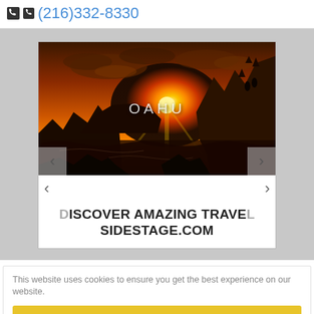(216)332-8330
[Figure (photo): Sunset panorama from rocky cliffs over the ocean with the text OAHU overlaid, part of a travel slideshow. Navigation arrows on left and right. Below the photo: DISCOVER AMAZING TRAVEL SIDESTAGE.COM]
This website uses cookies to ensure you get the best experience on our website.
Got it!